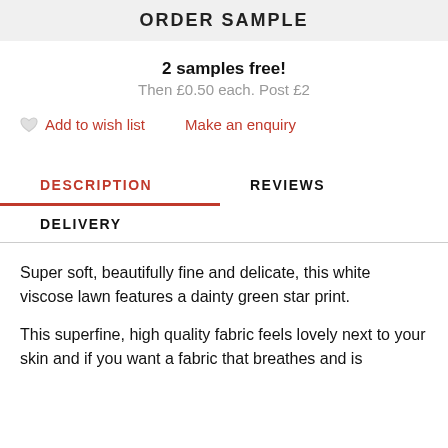ORDER SAMPLE
2 samples free!
Then £0.50 each. Post £2
Add to wish list   Make an enquiry
DESCRIPTION
REVIEWS
DELIVERY
Super soft, beautifully fine and delicate, this white viscose lawn features a dainty green star print.
This superfine, high quality fabric feels lovely next to your skin and if you want a fabric that breathes and is